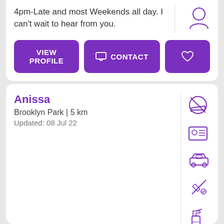4pm-Late and most Weekends all day. I can't wait to hear from you.
VIEW PROFILE
CONTACT
Anissa
Brooklyn Park | 5 km
Updated: 08 Jul 22
Looking for: Casual Babysitting
***LAST-MINUTE HOLIDAY BABYSITTING*** I am a warm, caring and patient 27-year-old who loves entertaining and working with children. I am a preservice teacher due to finish a Bachelor of Education in a few short month. Bilingual in